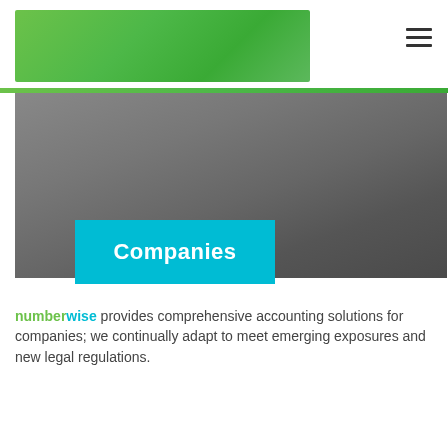[Figure (logo): Green gradient rectangular banner logo area for numberwise brand]
Companies
numberwise provides comprehensive accounting solutions for companies; we continually adapt to meet emerging exposures and new legal regulations.
Learn More